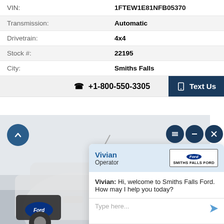| VIN: | 1FTEW1E81NFB05370 |
| Transmission: | Automatic |
| Drivetrain: | 4x4 |
| Stock #: | 22195 |
| City: | Smiths Falls |
+1-800-550-3305
Text Us
[Figure (screenshot): Live chat widget showing operator Vivian from Smiths Falls Ford with message: Hi, welcome to Smiths Falls Ford. How may I help you today?]
Vivian: Hi, welcome to Smiths Falls Ford. How may I help you today?
Type here...
Powered By: LiveAdmins